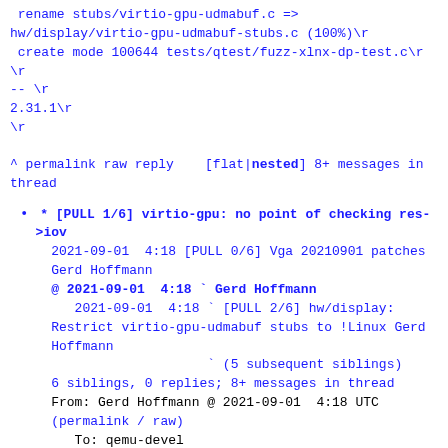rename stubs/virtio-gpu-udmabuf.c =>
hw/display/virtio-gpu-udmabuf-stubs.c (100%)\r
 create mode 100644 tests/qtest/fuzz-xlnx-dp-test.c\r
\r
-- \r
2.31.1\r
\r
^ permalink raw reply    [flat|nested] 8+ messages in thread
* [PULL 1/6] virtio-gpu: no point of checking res->iov
2021-09-01  4:18 [PULL 0/6] Vga 20210901 patches Gerd Hoffmann
@ 2021-09-01  4:18 ` Gerd Hoffmann
2021-09-01  4:18 ` [PULL 2/6] hw/display: Restrict virtio-gpu-udmabuf stubs to !Linux Gerd Hoffmann
                          ` (5 subsequent siblings)
  6 siblings, 0 replies; 8+ messages in thread
From: Gerd Hoffmann @ 2021-09-01  4:18 UTC
(permalink / raw)
   To: qemu-devel
   Cc: Laurent Vivier, Peter Maydell, Thomas Huth, Dongwon Kim,
           Michael S. Tsirkin, Alistair Francis, Alexander Bulekov,